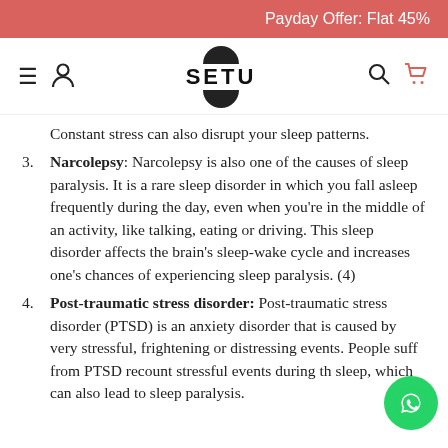Payday Offer: Flat 45%
[Figure (logo): SETU brand logo with hamburger menu, person icon, search icon, and cart icon in navigation bar]
Constant stress can also disrupt your sleep patterns.
3. Narcolepsy: Narcolepsy is also one of the causes of sleep paralysis. It is a rare sleep disorder in which you fall asleep frequently during the day, even when you’re in the middle of an activity, like talking, eating or driving. This sleep disorder affects the brain’s sleep-wake cycle and increases one’s chances of experiencing sleep paralysis. (4)
4. Post-traumatic stress disorder: Post-traumatic stress disorder (PTSD) is an anxiety disorder that is caused by very stressful, frightening or distressing events. People suffering from PTSD recount stressful events during their sleep, which can also lead to sleep paralysis.